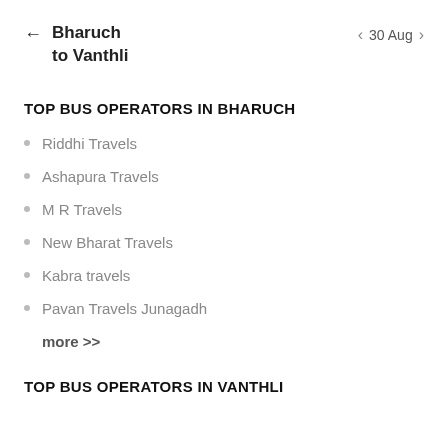← Bharuch to Vanthli   < 30 Aug >
TOP BUS OPERATORS IN BHARUCH
Riddhi Travels
Ashapura Travels
M R Travels
New Bharat Travels
Kabra travels
Pavan Travels Junagadh
more >>
TOP BUS OPERATORS IN VANTHLI